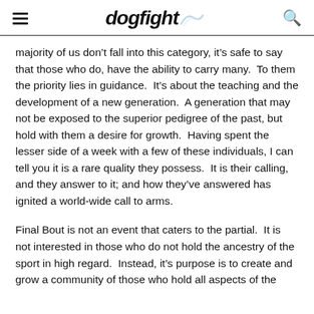dogfight [logo]
majority of us don't fall into this category, it's safe to say that those who do, have the ability to carry many.  To them the priority lies in guidance.  It's about the teaching and the development of a new generation.  A generation that may not be exposed to the superior pedigree of the past, but hold with them a desire for growth.  Having spent the lesser side of a week with a few of these individuals, I can tell you it is a rare quality they possess.  It is their calling, and they answer to it; and how they've answered has ignited a world-wide call to arms.
Final Bout is not an event that caters to the partial.  It is not interested in those who do not hold the ancestry of the sport in high regard.  Instead, it's purpose is to create and grow a community of those who hold all aspects of the